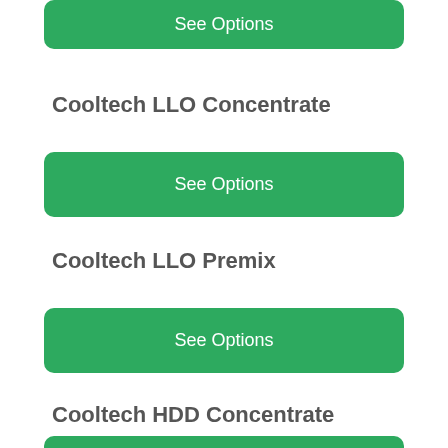[Figure (screenshot): Green rounded button partially visible at top of page with white text 'See Options']
Cooltech LLO Concentrate
[Figure (screenshot): Green rounded button with white text 'See Options']
Cooltech LLO Premix
[Figure (screenshot): Green rounded button with white text 'See Options']
Cooltech HDD Concentrate
[Figure (screenshot): Green rounded button partially visible at bottom of page with white text 'See Options']